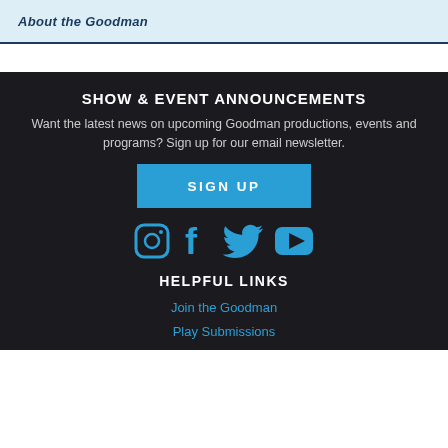About the Goodman
SHOW & EVENT ANNOUNCEMENTS
Want the latest news on upcoming Goodman productions, events and programs? Sign up for our email newsletter.
SIGN UP
[Figure (infographic): Social media icons: Instagram, Facebook, Twitter, YouTube in blue]
HELPFUL LINKS
Join the Goodman
Play Submissions